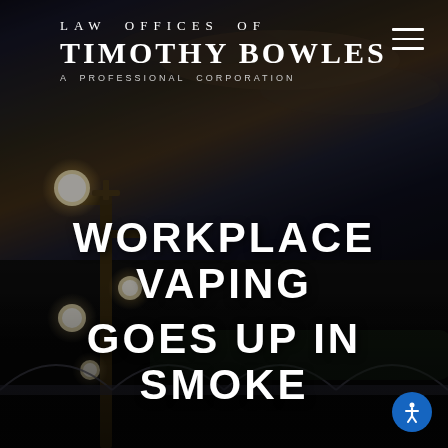LAW OFFICES OF
TIMOTHY BOWLES
A PROFESSIONAL CORPORATION
[Figure (photo): Dark atmospheric photo of an ornate street lamp with glowing globe lights against a dramatic twilight sky with clouds, and a bridge with arched stonework visible in the lower portion. City skyline with trees in background.]
WORKPLACE VAPING GOES UP IN SMOKE